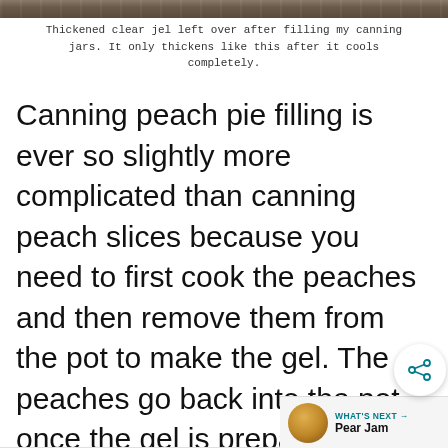[Figure (photo): Top strip showing a partial photo of thickened clear jel]
Thickened clear jel left over after filling my canning jars. It only thickens like this after it cools completely.
Canning peach pie filling is ever so slightly more complicated than canning peach slices because you need to first cook the peaches and then remove them from the pot to make the gel. The peaches go back into the pot once the gel is prepared and the completed pie filling is packed into jars.